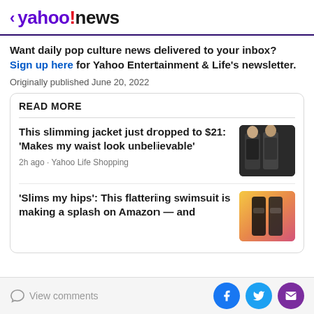< yahoo!news
Want daily pop culture news delivered to your inbox? Sign up here for Yahoo Entertainment & Life's newsletter.
Originally published June 20, 2022
READ MORE
This slimming jacket just dropped to $21: 'Makes my waist look unbelievable'
2h ago · Yahoo Life Shopping
'Slims my hips': This flattering swimsuit is making a splash on Amazon — and
View comments